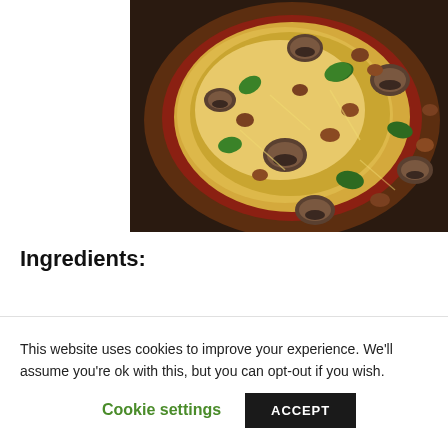[Figure (photo): Overhead close-up photo of a pizza with a dark crust topped with melted cheese, mushroom slices, green spinach leaves, and crumbled meat/sausage, sitting in a dark baking pan.]
Ingredients:
This website uses cookies to improve your experience. We'll assume you're ok with this, but you can opt-out if you wish.
Cookie settings
ACCEPT